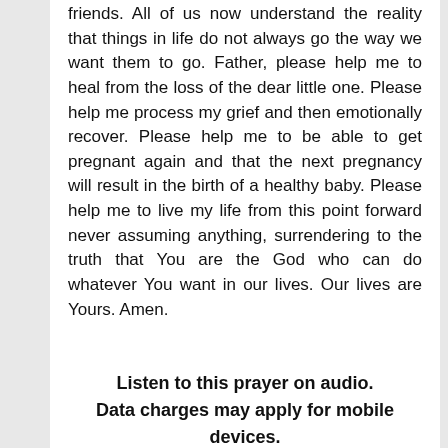friends. All of us now understand the reality that things in life do not always go the way we want them to go. Father, please help me to heal from the loss of the dear little one. Please help me process my grief and then emotionally recover. Please help me to be able to get pregnant again and that the next pregnancy will result in the birth of a healthy baby. Please help me to live my life from this point forward never assuming anything, surrendering to the truth that You are the God who can do whatever You want in our lives. Our lives are Yours. Amen.
Listen to this prayer on audio. Data charges may apply for mobile devices.